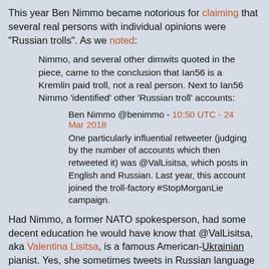This year Ben Nimmo became notorious for claiming that several real persons with individual opinions were "Russian trolls". As we noted:
Nimmo, and several other dimwits quoted in the piece, came to the conclusion that Ian56 is a Kremlin paid troll, not a real person. Next to Ian56 Nimmo 'identified' other 'Russian troll' accounts:
Ben Nimmo @benimmo - 10:50 UTC - 24 Mar 2018
One particularly influential retweeter (judging by the number of accounts which then retweeted it) was @ValLisitsa, which posts in English and Russian. Last year, this account joined the troll-factory #StopMorganLie campaign.
Had Nimmo, a former NATO spokesperson, had some decent education he would have know that @ValLisitsa, aka Valentina Lisitsa, is a famous American-Ukrainian pianist. Yes, she sometimes tweets in Russian language to her many fans in Russia and the Ukraine. Is that now a crime? The videos of her world wide performances on Youtube have more than 170